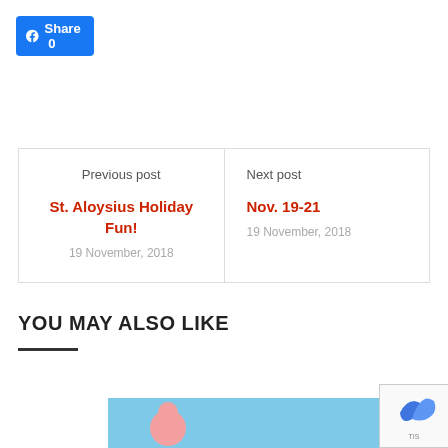[Figure (logo): Facebook Share button with count 0]
| Previous post | Next post |
| --- | --- |
| St. Aloysius Holiday Fun! | Nov. 19-21 |
| 19 November, 2018 | 19 November, 2018 |
YOU MAY ALSO LIKE
[Figure (photo): Thumbnail image with light blue background showing partial cartoon/illustration]